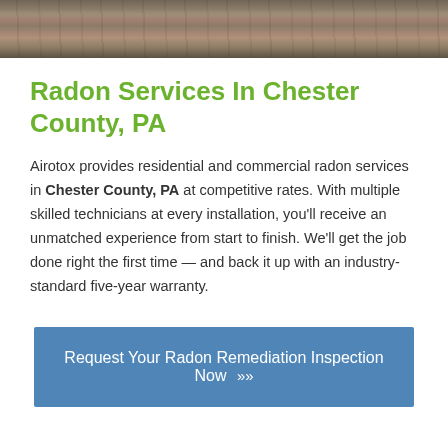[Figure (photo): Wood texture header image with dark brown grain pattern]
Radon Services In Chester County, PA
Airotox provides residential and commercial radon services in Chester County, PA at competitive rates. With multiple skilled technicians at every installation, you'll receive an unmatched experience from start to finish. We'll get the job done right the first time — and back it up with an industry-standard five-year warranty.
Request Your Radon Remediation Inspection Now »